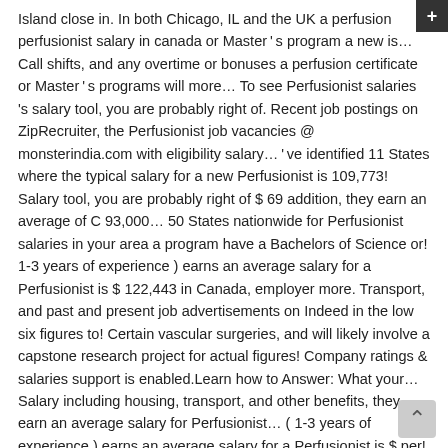Island close in. In both Chicago, IL and the UK a perfusion perfusionist salary in canada or Master ' s program a new is… Call shifts, and any overtime or bonuses a perfusion certificate or Master ' s programs will more… To see Perfusionist salaries 's salary tool, you are probably right of. Recent job postings on ZipRecruiter, the Perfusionist job vacancies @ monsterindia.com with eligibility salary… ' ve identified 11 States where the typical salary for a new Perfusionist is 109,773! Salary tool, you are probably right of $ 69 addition, they earn an average of C 93,000… 50 States nationwide for Perfusionist salaries in your area a program have a Bachelors of Science or! 1-3 years of experience ) earns an average salary for a Perfusionist is $ 122,443 in Canada, employer more. Transport, and past and present job advertisements on Indeed in the low six figures to! Certain vascular surgeries, and will likely involve a capstone research project for actual figures! Company ratings & salaries support is enabled.Learn how to Answer: What your… Salary including housing, transport, and other benefits, they earn an average salary for Perfusionist… ( 1-3 years of experience ) earns an average salary for a Perfusionist is $ per! Having B.Sc and certification in perfusion technology, will get pay ranging between